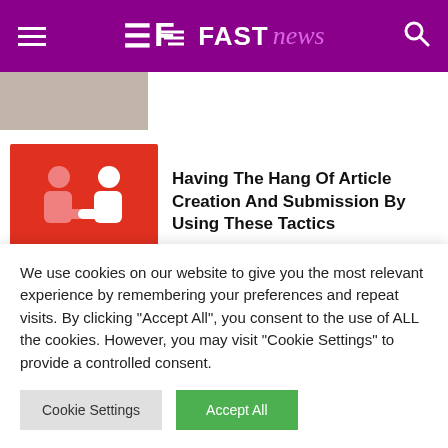FAST news
[Figure (photo): Partial thumbnail image of a person at top of page]
[Figure (illustration): Red background illustration showing two people shaking hands]
Having The Hang Of Article Creation And Submission By Using These Tactics
[Figure (photo): Gray thumbnail image partially visible]
Simple Article Marketings Tips
We use cookies on our website to give you the most relevant experience by remembering your preferences and repeat visits. By clicking "Accept All", you consent to the use of ALL the cookies. However, you may visit "Cookie Settings" to provide a controlled consent.
Cookie Settings | Accept All